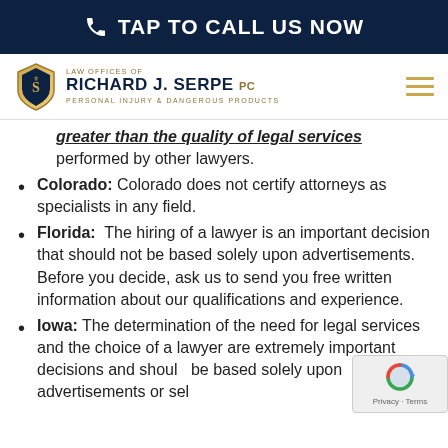TAP TO CALL US NOW
[Figure (logo): Law Offices of Richard J. Serpe PC - Personal Injury & Dangerous Products logo with shield emblem]
greater than the quality of legal services performed by other lawyers.
Colorado: Colorado does not certify attorneys as specialists in any field.
Florida: The hiring of a lawyer is an important decision that should not be based solely upon advertisements. Before you decide, ask us to send you free written information about our qualifications and experience.
Iowa: The determination of the need for legal services and the choice of a lawyer are extremely important decisions and should not be based solely upon advertisements or self-